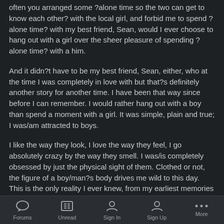often you arranged some ?alone time so the two can get to know each other? with the local girl, and forbid me to spend ?alone time? with my best friend, Sean, would I ever choose to hang out with a girl over the sheer pleasure of spending ?alone time? with a him.
And it didn?t have to be my best friend, Sean, either, who at the time I was completely in love with but that?s definitely another story for another time. I have been that way since before I can remember. I would rather hang out with a boy than spend a moment with a girl. It was simple, plain and true; I was/am attracted to boys.
I like the way they look, I love the way they feel, I go absolutely crazy by the way they smell. I was/is completely obsessed by just the physical sight of them. Clothed or not, the figure of a boy/man?s body drives me wild to this day. This is the only reality I ever knew, from my earliest memories all the way to the present day, it?s as natural as taking a breath. Did I make a choice?
Forums  Unread  Sign In  Sign Up  More